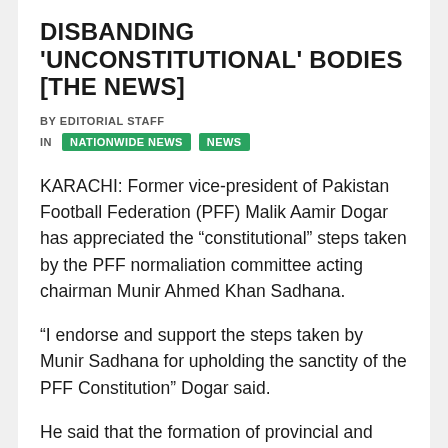DISBANDING 'UNCONSTITUTIONAL' BODIES [THE NEWS]
BY EDITORIAL STAFF
IN  NATIONWIDE NEWS  NEWS
KARACHI: Former vice-president of Pakistan Football Federation (PFF) Malik Aamir Dogar has appreciated the “constitutional” steps taken by the PFF normaliation committee acting chairman Munir Ahmed Khan Sadhana.
“I endorse and support the steps taken by Munir Sadhana for upholding the sanctity of the PFF Constitution” Dogar said.
He said that the formation of provincial and district Normalization Committees was illegal and in breach of the PFF Statutes Article 36 and 90. These committees had been formed to support a favourite group, he said.